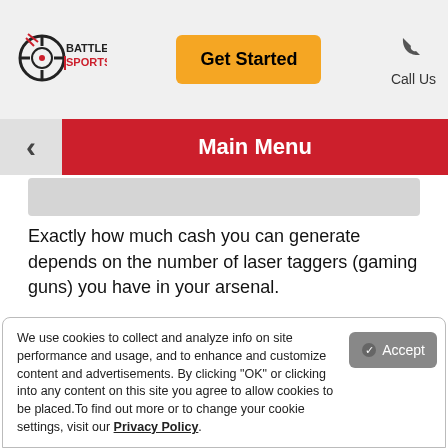[Figure (logo): Battlefield Sports.com logo with crosshair target icon]
Get Started
Call Us
Potential Turnover: $12,000.00
Main Menu
Exactly how much cash you can generate depends on the number of laser taggers (gaming guns) you have in your arsenal.
How many gaming guns will you start with?
How many will you add over time? What's your ideal number?
We use cookies to collect and analyze info on site performance and usage, and to enhance and customize content and advertisements. By clicking "OK" or clicking into any content on this site you agree to allow cookies to be placed.To find out more or to change your cookie settings, visit our Privacy Policy.